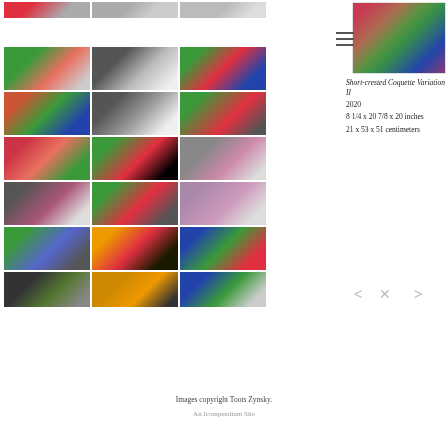[Figure (photo): Grid of glass sculpture thumbnail images showing colorful abstract bowl-like glass artworks by Toots Zynsky, arranged in a 3-column by 8-row grid on white/grey background]
[Figure (photo): Larger photo of a glass sculpture - Short-crested Coquette Variation II, colorful abstract glass art piece]
Short-crested Coquette Variation II
2020
8 1/4 x 20 7/8 x 20 inches
21 x 53 x 51 centimeters
[Figure (other): Navigation icons: left arrow, X close, right arrow]
Images copyright Toots Zynsky.
An Icompendium Site